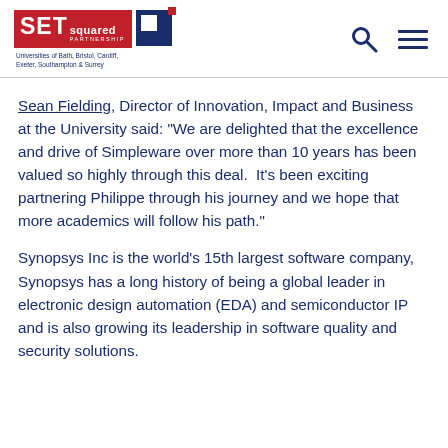SETsquared Partnership logo with Universities of Bath, Bristol, Cardiff, Exeter, Southampton & Surrey. Search and menu icons.
Sean Fielding, Director of Innovation, Impact and Business at the University said: “We are delighted that the excellence and drive of Simpleware over more than 10 years has been valued so highly through this deal.  It’s been exciting partnering Philippe through his journey and we hope that more academics will follow his path.”
Synopsys Inc is the world’s 15th largest software company, Synopsys has a long history of being a global leader in electronic design automation (EDA) and semiconductor IP and is also growing its leadership in software quality and security solutions.